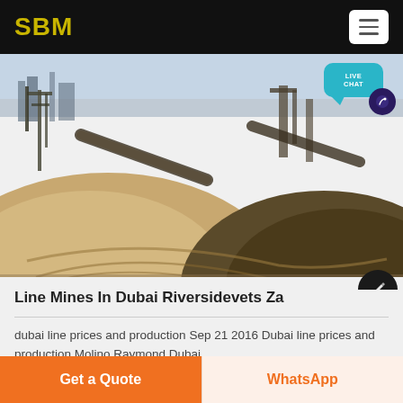SBM
[Figure (photo): Aerial view of a sand/aggregate mining or quarrying operation with heavy machinery conveyors and large sand mounds]
Line Mines In Dubai Riversidevets Za
dubai line prices and production Sep 21 2016 Dubai line prices and production Molino Raymond Dubai
Get a Quote | WhatsApp